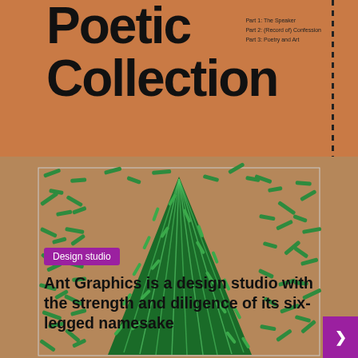Poetic Collection
Part 1: The Speaker
Part 2: (Record of) Confession
Part 3: Poetry and Art
[Figure (illustration): Abstract artwork with green sticks/dashes scattered on a tan/brown background, with a large green metallic mountain or tree shape in the center foreground]
Design studio
Ant Graphics is a design studio with the strength and diligence of its six-legged namesake